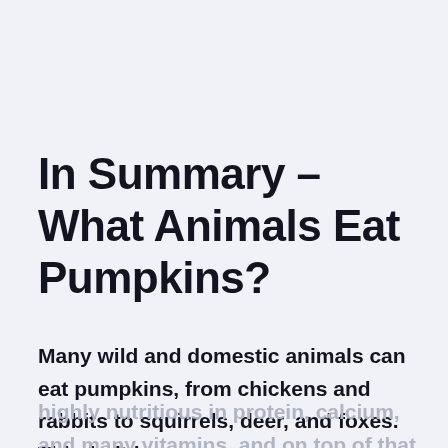In Summary – What Animals Eat Pumpkins?
Many wild and domestic animals can eat pumpkins, from chickens and rabbits to squirrels, deer, and foxes. This fruit is highly nutritious in protein, calcium, and many vitamins, and on top of that, it has